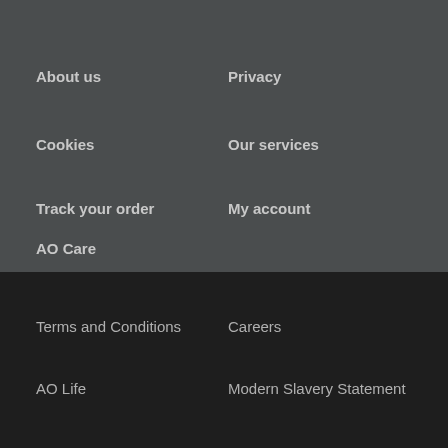About us
Privacy
Cookies
Our services
Track your order
My account
AO Care
Terms and Conditions
Careers
AO Life
Modern Slavery Statement